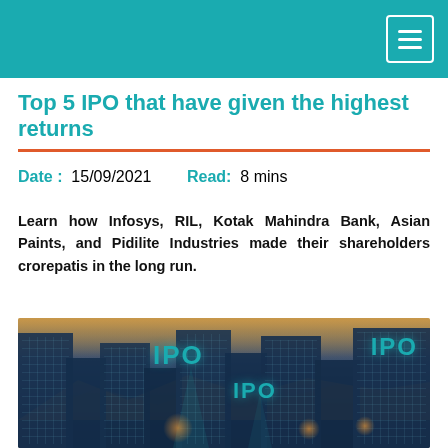Top 5 IPO that have given the highest returns
Date : 15/09/2021    Read: 8 mins
Learn how Infosys, RIL, Kotak Mahindra Bank, Asian Paints, and Pidilite Industries made their shareholders crorepatis in the long run.
[Figure (photo): Cityscape photo with tall glass buildings and IPO text labels overlaid in teal color, with orange sunset sky and triangular light beams]